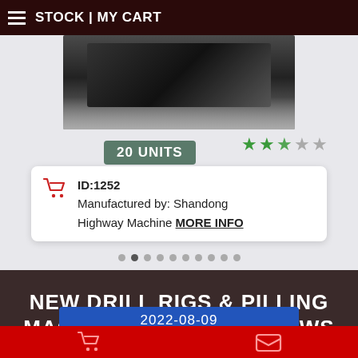STOCK | MY CART
[Figure (photo): Product machinery photo showing dark equipment/tracks from above]
★★★☆☆ (3 out of 5 stars rating)
20 UNITS
ID:1252 Manufactured by: Shandong Highway Machine MORE INFO
NEW DRILL RIGS & PILLING MACHINERY® LATEST NEWS
2022-08-09
DISCOUNT PRICES